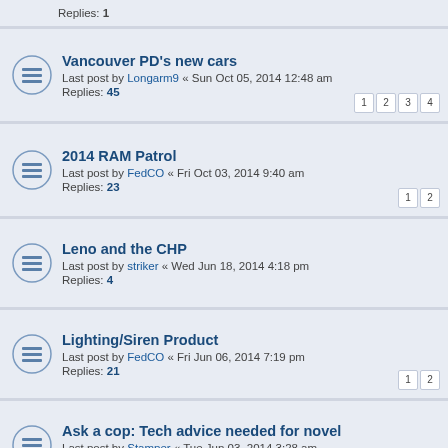Replies: 1
Vancouver PD's new cars
Last post by Longarm9 « Sun Oct 05, 2014 12:48 am
Replies: 45
Pages: 1 2 3 4
2014 RAM Patrol
Last post by FedCO « Fri Oct 03, 2014 9:40 am
Replies: 23
Pages: 1 2
Leno and the CHP
Last post by striker « Wed Jun 18, 2014 4:18 pm
Replies: 4
Lighting/Siren Product
Last post by FedCO « Fri Jun 06, 2014 7:19 pm
Replies: 21
Pages: 1 2
Ask a cop: Tech advice needed for novel
Last post by Stamper « Tue Jun 03, 2014 3:28 am
Replies: 4
MTO Ghost Cruisers
Last post by hacienda216 « Mon May 12, 2014 5:20 pm
Replies: 45